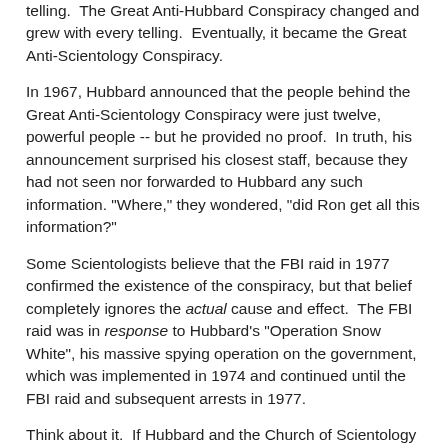telling.  The Great Anti-Hubbard Conspiracy changed and grew with every telling.  Eventually, it became the Great Anti-Scientology Conspiracy.
In 1967, Hubbard announced that the people behind the Great Anti-Scientology Conspiracy were just twelve, powerful people -- but he provided no proof.  In truth, his announcement surprised his closest staff, because they had not seen nor forwarded to Hubbard any such information. "Where," they wondered, "did Ron get all this information?"
Some Scientologists believe that the FBI raid in 1977 confirmed the existence of the conspiracy, but that belief completely ignores the actual cause and effect.  The FBI raid was in response to Hubbard's "Operation Snow White", his massive spying operation on the government, which was implemented in 1974 and continued until the FBI raid and subsequent arrests in 1977.
Think about it.  If Hubbard and the Church of Scientology had been the object of a Great Conspiracy earlier, in 1974, the FBI would have already known about "Operation Snow